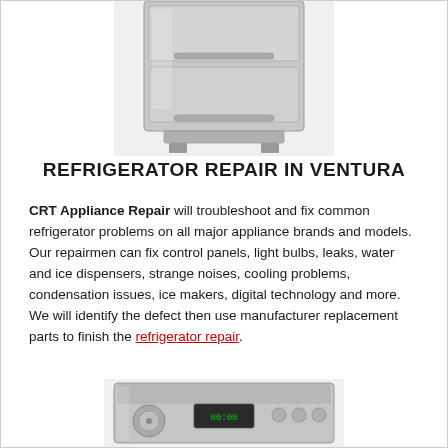[Figure (photo): Stainless steel under-counter refrigerator with drawer pull, top portion cropped]
REFRIGERATOR REPAIR IN VENTURA
CRT Appliance Repair will troubleshoot and fix common refrigerator problems on all major appliance brands and models. Our repairmen can fix control panels, light bulbs, leaks, water and ice dispensers, strange noises, cooling problems, condensation issues, ice makers, digital technology and more. We will identify the defect then use manufacturer replacement parts to finish the refrigerator repair.
[Figure (photo): Stainless steel front-load washer/dryer appliance, partially visible at bottom of page]